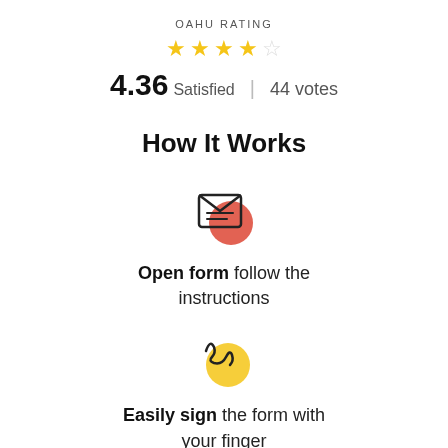OAHU RATING
[Figure (infographic): 4 filled gold stars and 1 empty star rating display]
4.36 Satisfied | 44 votes
How It Works
[Figure (illustration): Open envelope icon with red circle accent]
Open form follow the instructions
[Figure (illustration): Signature/handwriting icon with yellow circle accent]
Easily sign the form with your finger